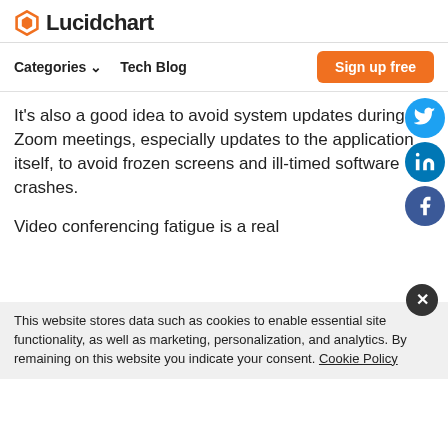[Figure (logo): Lucidchart logo with orange hexagon icon and bold text 'Lucidchart']
Categories ∨   Tech Blog   Sign up free
It's also a good idea to avoid system updates during Zoom meetings, especially updates to the application itself, to avoid frozen screens and ill-timed software crashes.
Video conferencing fatigue is a real
This website stores data such as cookies to enable essential site functionality, as well as marketing, personalization, and analytics. By remaining on this website you indicate your consent. Cookie Policy